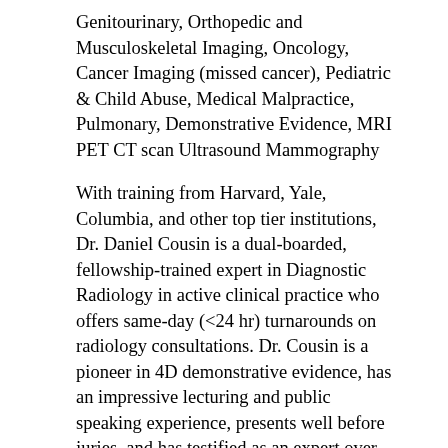Genitourinary, Orthopedic and Musculoskeletal Imaging, Oncology, Cancer Imaging (missed cancer), Pediatric & Child Abuse, Medical Malpractice, Pulmonary, Demonstrative Evidence, MRI PET CT scan Ultrasound Mammography
With training from Harvard, Yale, Columbia, and other top tier institutions, Dr. Daniel Cousin is a dual-boarded, fellowship-trained expert in Diagnostic Radiology in active clinical practice who offers same-day (<24 hr) turnarounds on radiology consultations. Dr. Cousin is a pioneer in 4D demonstrative evidence, has an impressive lecturing and public speaking experience, presents well before juries, and has testified as an expert over 60 times in the last 4 years. As of 2021, his plaintiff/defense split is approximately 50/50. Dr. Cousin has served as the Medical Director in private practice, and also as the Program Director for a residency program where he was responsible for teaching newly minted doctors to be radiologists. He has nearly two decades of experience in the field including both academic and private practices and both clinical and administrative positions. Dr. Cousin is currently the Clinical Director for BayView Radiology in Florida. He is board-certified by both